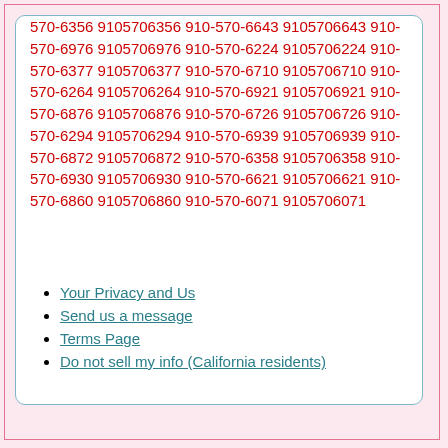570-6356 9105706356 910-570-6643 9105706643 910-570-6976 9105706976 910-570-6224 9105706224 910-570-6377 9105706377 910-570-6710 9105706710 910-570-6264 9105706264 910-570-6921 9105706921 910-570-6876 9105706876 910-570-6726 9105706726 910-570-6294 9105706294 910-570-6939 9105706939 910-570-6872 9105706872 910-570-6358 9105706358 910-570-6930 9105706930 910-570-6621 9105706621 910-570-6860 9105706860 910-570-6071 9105706071
Your Privacy and Us
Send us a message
Terms Page
Do not sell my info (California residents)